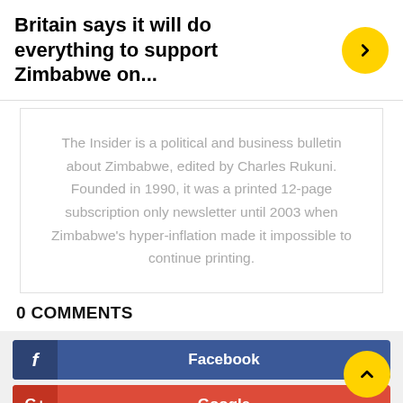Britain says it will do everything to support Zimbabwe on...
The Insider is a political and business bulletin about Zimbabwe, edited by Charles Rukuni. Founded in 1990, it was a printed 12-page subscription only newsletter until 2003 when Zimbabwe's hyper-inflation made it impossible to continue printing.
0 COMMENTS
Facebook
Google